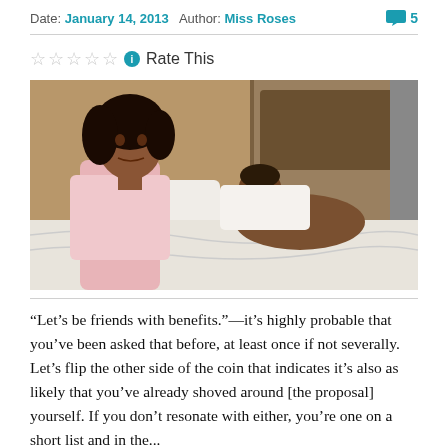Date: January 14, 2013  Author: Miss Roses  [5 comments]
[Figure (photo): A woman in a pink t-shirt sitting on a bed looking directly at camera while a man lies asleep behind her in the bed with white sheets.]
“Let’s be friends with benefits.”—it’s highly probable that you’ve been asked that before, at least once if not severally. Let’s flip the other side of the coin that indicates it’s also as likely that you’ve already shoved around [the proposal] yourself. If you don’t resonate with either, you’re one on a short list and in the...